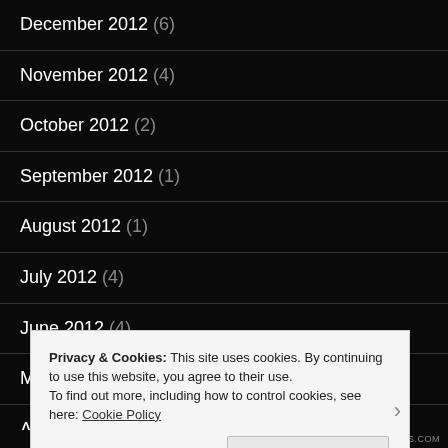December 2012 (6)
November 2012 (4)
October 2012 (2)
September 2012 (1)
August 2012 (1)
July 2012 (4)
June 2012 (4)
May 2012 (2)
April 2012 (5)
Privacy & Cookies: This site uses cookies. By continuing to use this website, you agree to their use.
To find out more, including how to control cookies, see here: Cookie Policy
Close and accept